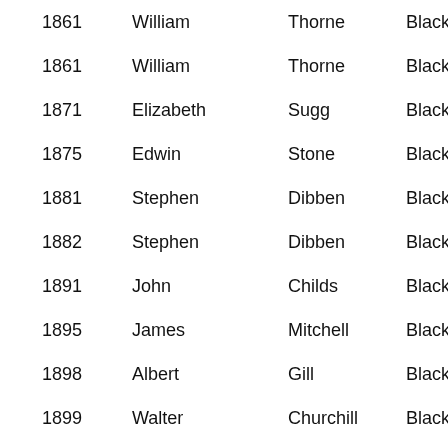| Year | First Name | Surname | Public House |  |
| --- | --- | --- | --- | --- |
| 1861 | William | Thorne | Black Horse | P |
| 1861 | William | Thorne | Black Horse | P |
| 1871 | Elizabeth | Sugg | Black Horse | P |
| 1875 | Edwin | Stone | Black Horse | P |
| 1881 | Stephen | Dibben | Black Horse | P |
| 1882 | Stephen | Dibben | Black Horse | P |
| 1891 | John | Childs | Black Horse | P |
| 1895 | James | Mitchell | Black Horse | P |
| 1898 | Albert | Gill | Black Horse | P |
| 1899 | Walter | Churchill | Black Horse | P |